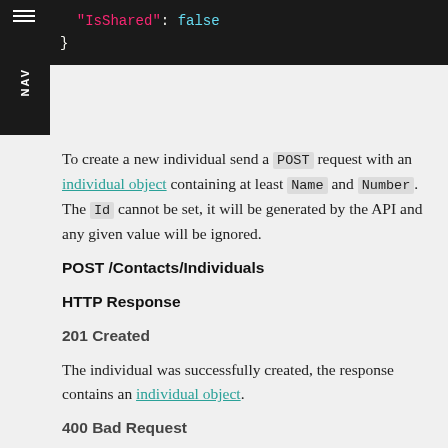"IsShared": false
}
To create a new individual send a POST request with an individual object containing at least Name and Number. The Id cannot be set, it will be generated by the API and any given value will be ignored.
POST /Contacts/Individuals
HTTP Response
201 Created
The individual was successfully created, the response contains an individual object.
400 Bad Request
Will contain a message explaining the issue, e.g. {"Message": "Validation failed - Number must be in international format"}